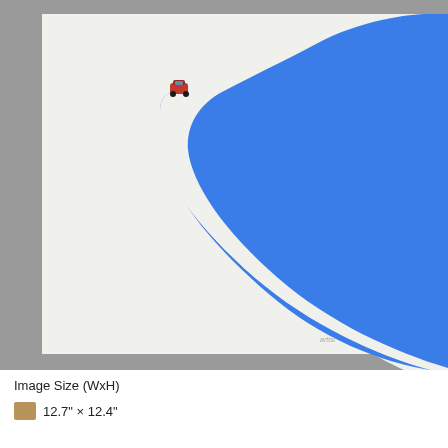[Figure (illustration): An art print on white deckle-edged paper showing a bold blue racing track curve from an aerial perspective, with a tiny red racing car at the apex of the curve. The print is displayed against a gray background.]
Image Size (WxH)
12.7" x 12.4"